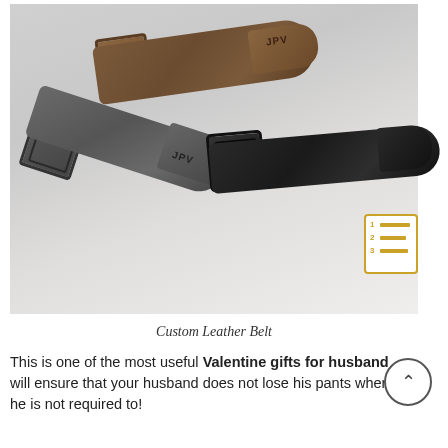[Figure (photo): Three leather belts with monograms 'JPV' arranged in a pile on a light background. One brown belt, one gray belt, and one black belt, each with a buckle and a monogrammed tag.]
Custom Leather Belt
This is one of the most useful Valentine gifts for husband will ensure that your husband does not lose his pants when he is not required to!